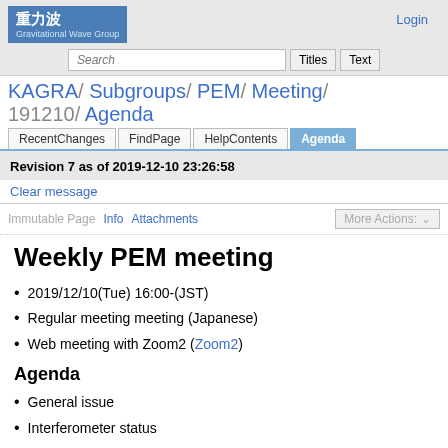重力波 Gravitational Wave Group
Login
Search | Titles | Text
KAGRA/ Subgroups/ PEM/ Meeting/ 191210/ Agenda
RecentChanges | FindPage | HelpContents | Agenda
Revision 7 as of 2019-12-10 23:26:58
Clear message
Immutable Page | Info | Attachments | More Actions:
Weekly PEM meeting
2019/12/10(Tue) 16:00-(JST)
Regular meeting meeting (Japanese)
Web meeting with Zoom2 ( Zoom2)
Agenda
General issue
Interferometer status